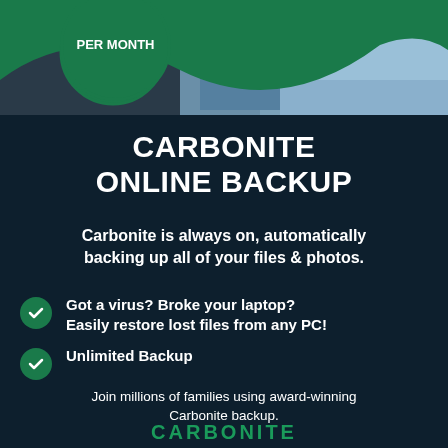[Figure (photo): Person in blue denim shirt in background, green wave overlay, green circle badge with PER MONTH text at top of advertisement]
CARBONITE ONLINE BACKUP
Carbonite is always on, automatically backing up all of your files & photos.
Got a virus? Broke your laptop? Easily restore lost files from any PC!
Unlimited Backup
Join millions of families using award-winning Carbonite backup.
[Figure (logo): Carbonite brand logo in green at bottom]